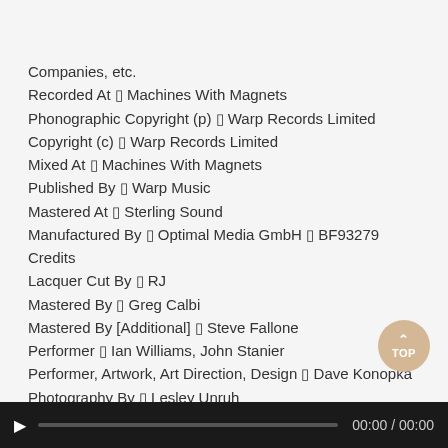Companies, etc.
Recorded At – Machines With Magnets
Phonographic Copyright (p) – Warp Records Limited
Copyright (c) – Warp Records Limited
Mixed At – Machines With Magnets
Published By – Warp Music
Mastered At – Sterling Sound
Manufactured By – Optimal Media GmbH – BF93279
Credits
Lacquer Cut By – RJ
Mastered By – Greg Calbi
Mastered By [Additional] – Steve Fallone
Performer – Ian Williams, John Stanier
Performer, Artwork, Art Direction, Design – Dave Konopka
Photography By – Lesley Unruh
Producer, Recorded By, Mixed By – Keith Souza, Seth Manchester
00:00 / 00:00